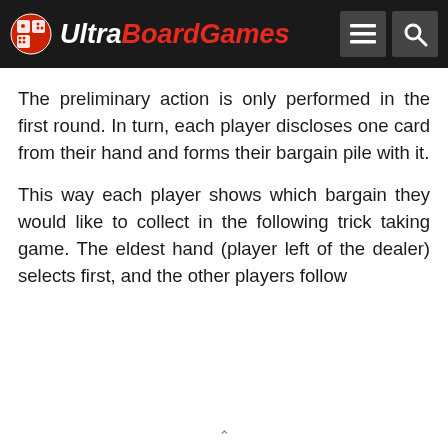UltraBoardGames
The preliminary action is only performed in the first round. In turn, each player discloses one card from their hand and forms their bargain pile with it.
This way each player shows which bargain they would like to collect in the following trick taking game. The eldest hand (player left of the dealer) selects first, and the other players follow